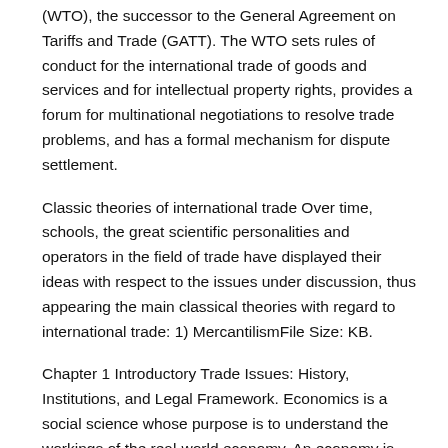(WTO), the successor to the General Agreement on Tariffs and Trade (GATT). The WTO sets rules of conduct for the international trade of goods and services and for intellectual property rights, provides a forum for multinational negotiations to resolve trade problems, and has a formal mechanism for dispute settlement.
Classic theories of international trade Over time, schools, the great scientific personalities and operators in the field of trade have displayed their ideas with respect to the issues under discussion, thus appearing the main classical theories with regard to international trade: 1) MercantilismFile Size: KB.
Chapter 1 Introductory Trade Issues: History, Institutions, and Legal Framework. Economics is a social science whose purpose is to understand the workings of the real-world economy. An economy is something that no one person can observe in its entirety.
Ricardo's theory is absolutely right—within its narrow confines. His theory correctly says that, accepting their current levels of technology as given, it is better for countries to specialize in things that they are relatively better cannot come with that.